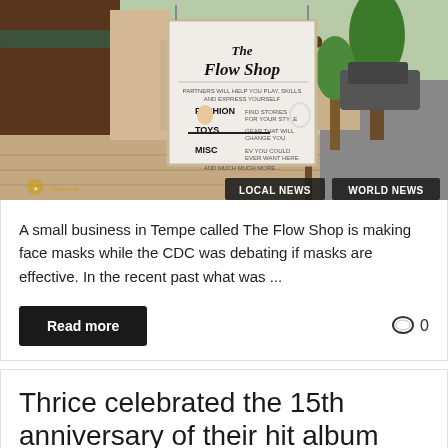[Figure (photo): Street scene showing The Flow Shop sign on a sidewalk in Tempe. The sign lists Fashion, Toys, Misc items with decorative figures. Navigation buttons showing LOCAL NEWS and WORLD NEWS overlaid at bottom right.]
A small business in Tempe called The Flow Shop is making face masks while the CDC was debating if masks are effective. In the recent past what was ...
Read more
0
Thrice celebrated the 15th anniversary of their hit album Vheissu at Marquee...